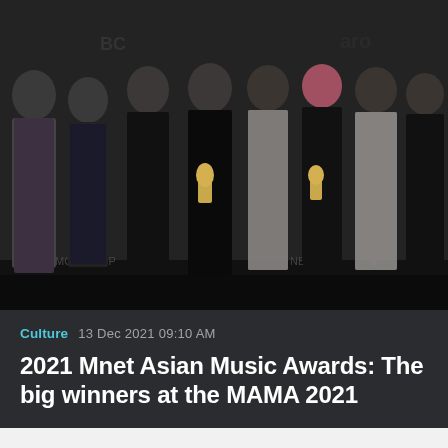[Figure (photo): Group photo of BTS (K-pop group of 8 members) posing at an awards show backdrop with NBC and other logos visible. Members are dressed in formal black and white attire; some holding gold trophy awards. Dark background.]
Culture   13 Dec 2021 09:10 AM
2021 Mnet Asian Music Awards: The big winners at the MAMA 2021